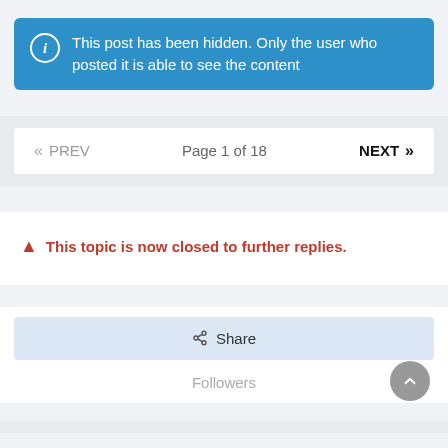This post has been hidden. Only the user who posted it is able to see the content
« PREV   Page 1 of 18   NEXT »
▲ This topic is now closed to further replies.
Share
Followers